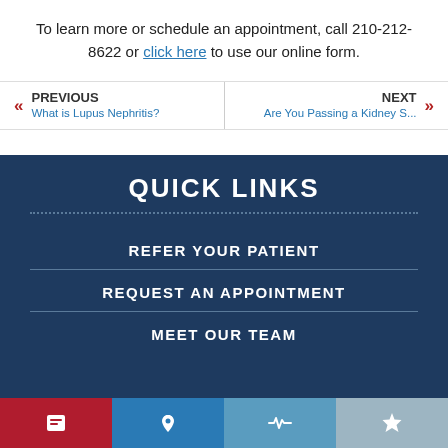To learn more or schedule an appointment, call 210-212-8622 or click here to use our online form.
PREVIOUS — What is Lupus Nephritis?
NEXT — Are You Passing a Kidney S...
QUICK LINKS
REFER YOUR PATIENT
REQUEST AN APPOINTMENT
MEET OUR TEAM